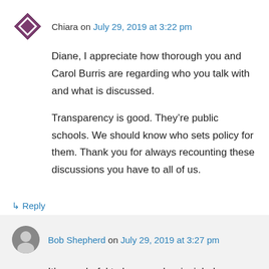Chiara on July 29, 2019 at 3:22 pm
Diane, I appreciate how thorough you and Carol Burris are regarding who you talk with and what is discussed.
Transparency is good. They’re public schools. We should know who sets policy for them. Thank you for always recounting these discussions you have to all of us.
↳ Reply
Bob Shepherd on July 29, 2019 at 3:27 pm
It’s wonderful to have such principled advocates as these two!!!